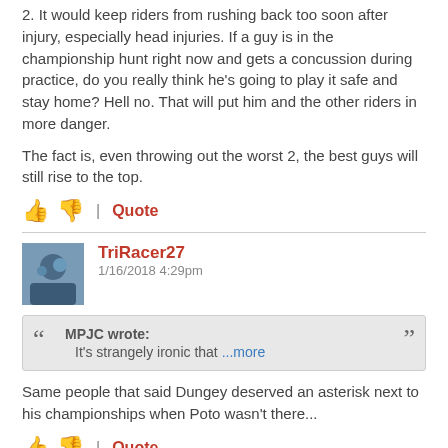2. It would keep riders from rushing back too soon after injury, especially head injuries. If a guy is in the championship hunt right now and gets a concussion during practice, do you really think he's going to play it safe and stay home? Hell no. That will put him and the other riders in more danger.
The fact is, even throwing out the worst 2, the best guys will still rise to the top.
TriRacer27
1/16/2018 4:29pm
MPJC wrote: It's strangely ironic that ...more
Same people that said Dungey deserved an asterisk next to his championships when Poto wasn't there...